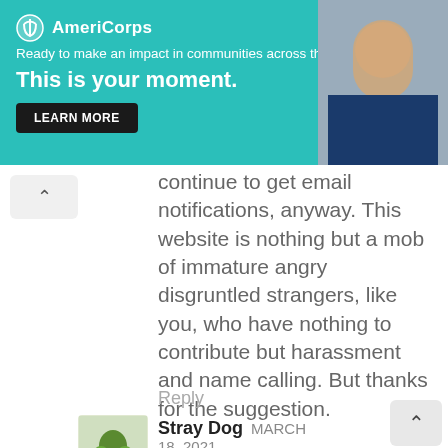[Figure (screenshot): AmeriCorps advertisement banner with teal background. Logo with shield icon and 'AmeriCorps' text. Tagline: 'Ready to make an impact in communities across the country?'. Headline: 'This is your moment.' with a 'LEARN MORE' button. Photo of a person on the right side.]
continue to get email notifications, anyway. This website is nothing but a mob of immature angry disgruntled strangers, like you, who have nothing to contribute but harassment and name calling. But thanks for the suggestion.
Reply
Stray Dog  MARCH
18, 2021